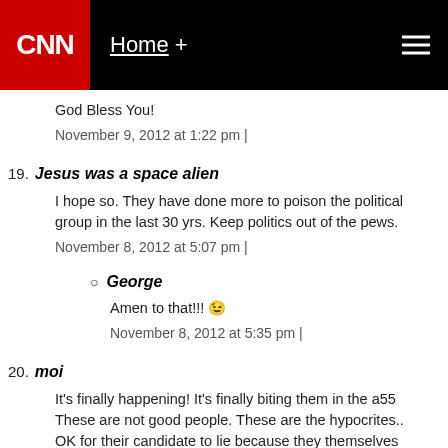[Figure (screenshot): CNN website header with logo, Home navigation link, and hamburger menu icon]
God Bless You!
November 9, 2012 at 1:22 pm |
19. Jesus was a space alien
I hope so. They have done more to poison the political group in the last 30 yrs. Keep politics out of the pews.
November 8, 2012 at 5:07 pm |
George
Amen to that!!! 😉
November 8, 2012 at 5:35 pm |
20. moi
It's finally happening! It's finally biting them in the a55 These are not good people. These are the hypocrites... OK for their candidate to lie because they themselves evangelicals who voted for Obama... those are the goo